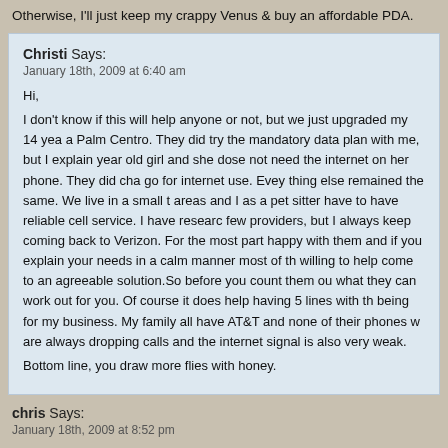Otherwise, I'll just keep my crappy Venus & buy an affordable PDA.
Christi Says:
January 18th, 2009 at 6:40 am
Hi,
I don't know if this will help anyone or not, but we just upgraded my 14 yea... a Palm Centro. They did try the mandatory data plan with me, but I explain... year old girl and she dose not need the internet on her phone. They did cha... go for internet use. Evey thing else remained the same. We live in a small t... areas and I as a pet sitter have to have reliable cell service. I have researc... few providers, but I always keep coming back to Verizon. For the most part... happy with them and if you explain your needs in a calm manner most of th... willing to help come to an agreeable solution.So before you count them ou... what they can work out for you. Of course it does help having 5 lines with th... being for my business. My family all have AT&T and none of their phones w... are always dropping calls and the internet signal is also very weak.
Bottom line, you draw more flies with honey.
chris Says:
January 18th, 2009 at 8:52 pm
I changed plans to upgrade (?) to the 4.99 unlimited texting, and was told I c...